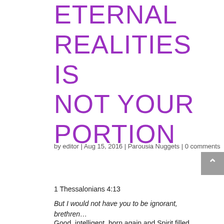ETERNAL REALITIES IS NOT YOUR PORTION
by editor | Aug 15, 2016 | Parousia Nuggets | 0 comments
1 Thessalonians 4:13
But I would not have you to be ignorant, brethren…
Good, intelligent, born again and Spirit filled